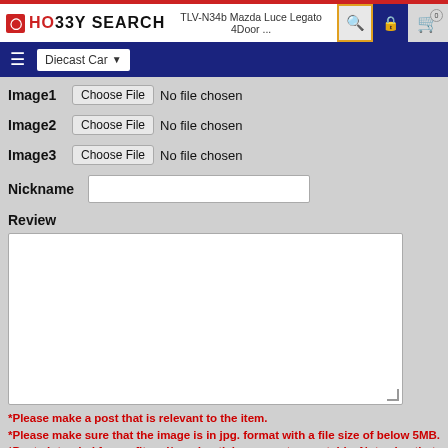HO33Y SEARCH   TLV-N34b Mazda Luce Legato 4Door ...
[Figure (screenshot): Navigation bar with hamburger menu, Diecast Car dropdown, search icon, lock icon, and cart with 0 items]
Image1  Choose File  No file chosen
Image2  Choose File  No file chosen
Image3  Choose File  No file chosen
Nickname
Review
*Please make a post that is relevant to the item.
*Please make sure that the image is in jpg. format with a file size of below 5MB.
*Posts intended for profit and/or advertising are not acceptable. Note also that no reference should be made to our competing retailers.